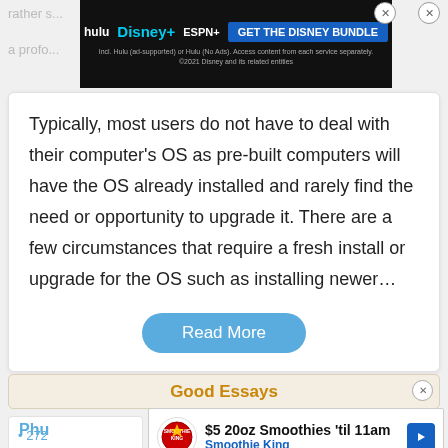[Figure (other): Disney Bundle advertisement banner with Hulu, Disney+, ESPN+ logos and 'GET THE DISNEY BUNDLE' button]
Typically, most users do not have to deal with their computer's OS as pre-built computers will have the OS already installed and rarely find the need or opportunity to upgrade it. There are a few circumstances that require a fresh install or upgrade for the OS such as installing newer…
Read More
Good Essays
Phu
272
11
[Figure (other): Smoothie King advertisement: $5 20oz Smoothies 'til 11am]